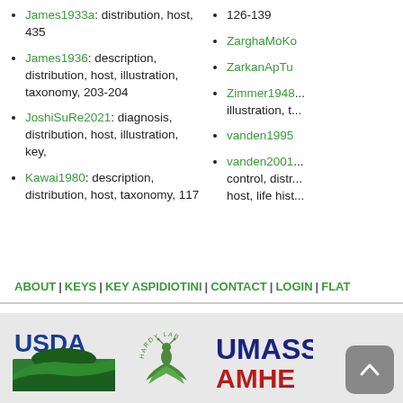James1933a: distribution, host, 435
James1936: description, distribution, host, illustration, taxonomy, 203-204
JoshiSuRe2021: diagnosis, distribution, host, illustration, key,
Kawai1980: description, distribution, host, taxonomy, 117
126-139
ZarghaMoKo...
ZarkanApTu...
Zimmer1948...: illustration, t...
vanden1995...
vanden2001...: control, distr..., host, life hist...
ABOUT | KEYS | KEY ASPIDIOTINI | CONTACT | LOGIN | FLAT...
[Figure (logo): USDA logo with green hill/field graphic and blue USDA text]
[Figure (logo): Hardy Lab logo with green insect on leaf graphic and circular text]
[Figure (logo): UMass Amherst logo with UMASS in dark blue and AMHE(RST) in red, partially visible]